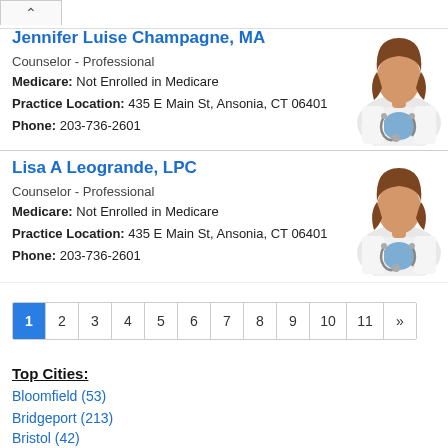Jennifer Luise Champagne, MA
Counselor - Professional
Medicare: Not Enrolled in Medicare
Practice Location: 435 E Main St, Ansonia, CT 06401
Phone: 203-736-2601
[Figure (illustration): Generic female doctor avatar with stethoscope]
Lisa A Leogrande, LPC
Counselor - Professional
Medicare: Not Enrolled in Medicare
Practice Location: 435 E Main St, Ansonia, CT 06401
Phone: 203-736-2601
[Figure (illustration): Generic female doctor avatar with stethoscope]
1 2 3 4 5 6 7 8 9 10 11 »
Top Cities:
Bloomfield (53)
Bridgeport (213)
Bristol (42)